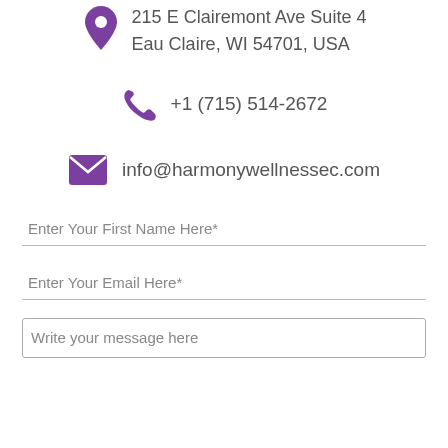215 E Clairemont Ave Suite 4
Eau Claire, WI 54701, USA
+1 (715) 514-2672
info@harmonywellnessec.com
Enter Your First Name Here*
Enter Your Email Here*
Write your message here